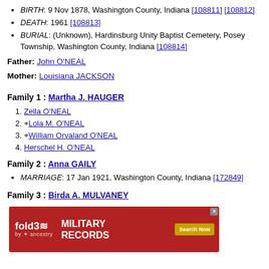BIRTH: 9 Nov 1878, Washington County, Indiana [108811] [108812]
DEATH: 1961 [108813]
BURIAL: (Unknown), Hardinsburg Unity Baptist Cemetery, Posey Township, Washington County, Indiana [108814]
Father: John O'NEAL
Mother: Louisiana JACKSON
Family 1 : Martha J. HAUGER
1. Zella O'NEAL
2. +Lola M. O'NEAL
3. +William Orvaland O'NEAL
4. Herschel H. O'NEAL
Family 2 : Anna GAILY
MARRIAGE: 17 Jan 1921, Washington County, Indiana [172849]
Family 3 : Birda A. MULVANEY
MARRIAGE: ... Washington County, Indiana [17...